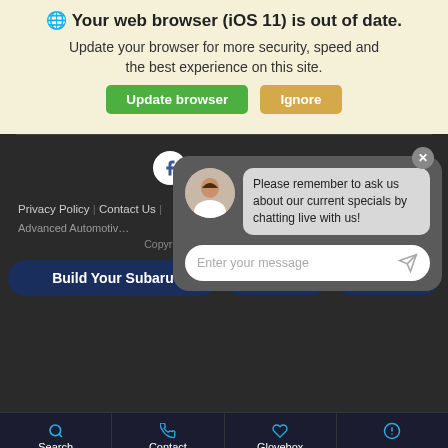🌐 Your web browser (iOS 11) is out of date.
Update your browser for more security, speed and the best experience on this site.
Update browser | Ignore
[Figure (screenshot): Dark footer area with social media icons (Facebook, Twitter, Instagram), a live chat popup with a female agent avatar, a chat bubble saying 'Please remember to ask us about our current specials by chatting live with us!', a message input field, footer links (Privacy Policy, Contact Us, Advanced Automotive), copyright text 'Copyright © 2022 - Albany Subaru', action buttons (Build Your Subaru, Text, Chat), and bottom navigation bar (Search, Contact, Glovebox, Accessibility).]